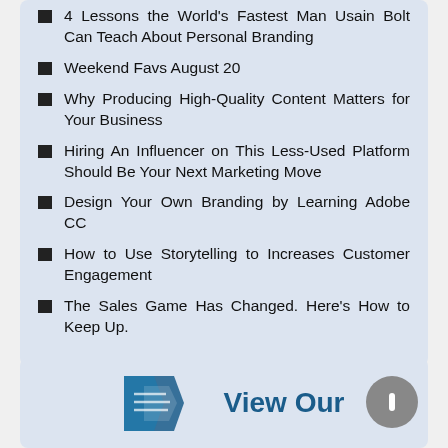4 Lessons the World’s Fastest Man Usain Bolt Can Teach About Personal Branding
Weekend Favs August 20
Why Producing High-Quality Content Matters for Your Business
Hiring An Influencer on This Less-Used Platform Should Be Your Next Marketing Move
Design Your Own Branding by Learning Adobe CC
How to Use Storytelling to Increases Customer Engagement
The Sales Game Has Changed. Here’s How to Keep Up.
[Figure (logo): View Our logo with teal arrow/page icon and bold teal text reading 'View Our']